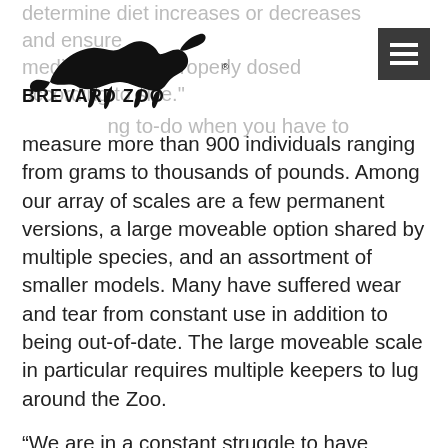determine diet increases or decreases and ensure medications are properly dosed according to size.
[Figure (logo): Brevard Zoo logo with running cheetah silhouette and text BREVARD ZOO]
measure more than 900 individuals ranging from grams to thousands of pounds. Among our array of scales are a few permanent versions, a large moveable option shared by multiple species, and an assortment of smaller models. Many have suffered wear and tear from constant use in addition to being out-of-date. The large moveable scale in particular requires multiple keepers to lug around the Zoo.
“We are in a constant struggle to have enough working scales for all of our animals, yet weights are the first thing we look at when determining an animal’s health,” said Lauren.
What goes into weighing an animal? Often, treats and snacks are used to encourage our larger residents to